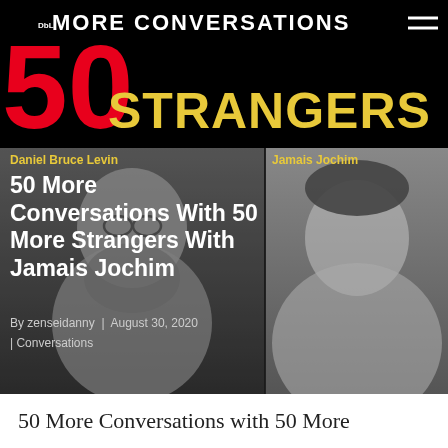[Figure (photo): Website header banner with large red '50', yellow 'STRANGERS' text, white 'MORE CONVERSATIONS' text on black background with hamburger menu icon]
[Figure (photo): Two black and white portrait photos side by side: left is Daniel Bruce Levin, an older bearded man with glasses; right is Jamais Jochim, a younger man]
Daniel Bruce Levin
Jamais Jochim
50 More Conversations With 50 More Strangers With Jamais Jochim
By zenseidanny | August 30, 2020
| Conversations
50 More Conversations with 50 More